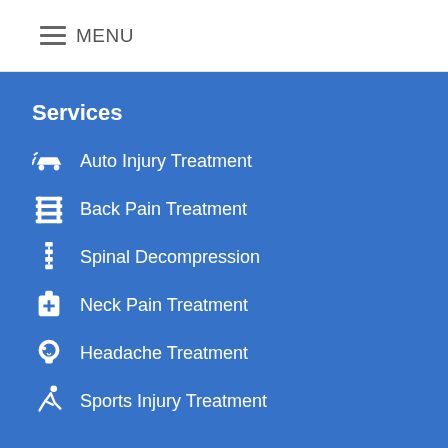MENU
Services
Auto Injury Treatment
Back Pain Treatment
Spinal Decompression
Neck Pain Treatment
Headache Treatment
Sports Injury Treatment